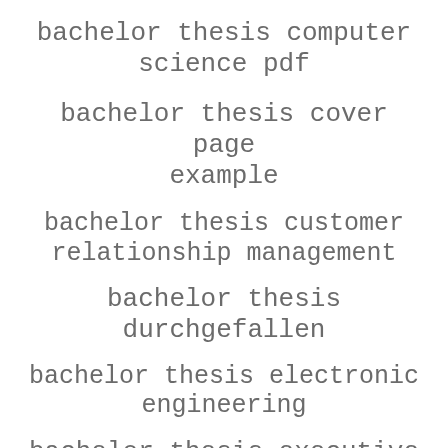bachelor thesis computer science pdf
bachelor thesis cover page example
bachelor thesis customer relationship management
bachelor thesis durchgefallen
bachelor thesis electronic engineering
bachelor thesis executive summary